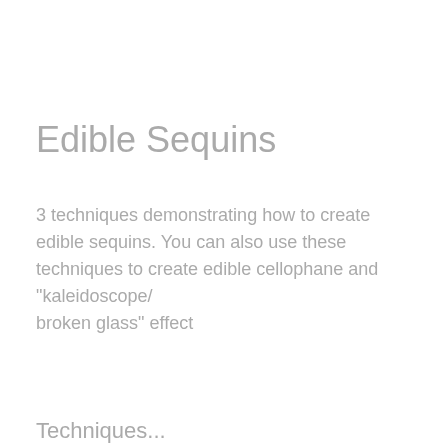Edible Sequins
3 techniques demonstrating how to create edible sequins. You can also use these techniques to create edible cellophane and "kaleidoscope/broken glass" effect
Techniques...